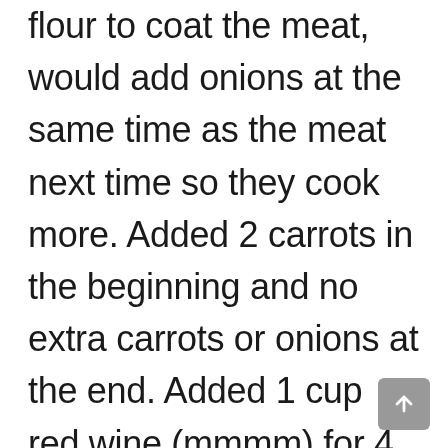flour to coat the meat, would add onions at the same time as the meat next time so they cook more. Added 2 carrots in the beginning and no extra carrots or onions at the end. Added 1 cup red wine (mmmm) for 4 total cups of liquid with the beef broth. Also used 5 red potatoes total and added them at the same